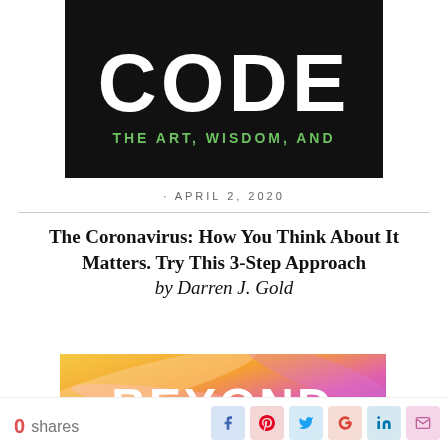[Figure (photo): Book cover with large white text 'CODE' and subtitle 'THE ART, WISDOM, AND' on black background]
· APRIL 2, 2020
The Coronavirus: How You Think About It Matters. Try This 3-Step Approach
by Darren J. Gold
[Figure (illustration): Colorful swirling abstract image with text 'BEYOND' in large white letters on gradient background of orange, pink and purple]
0 shares
[Figure (infographic): Social sharing buttons: Facebook, Pinterest, Twitter, Google+, LinkedIn, Email]